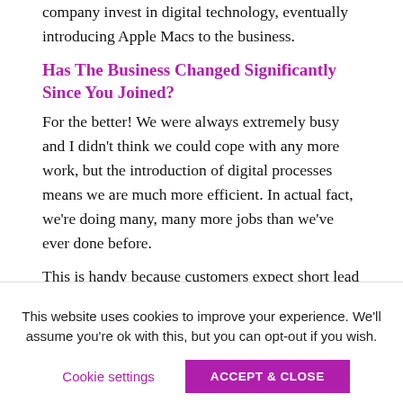company invest in digital technology, eventually introducing Apple Macs to the business.
Has The Business Changed Significantly Since You Joined?
For the better! We were always extremely busy and I didn't think we could cope with any more work, but the introduction of digital processes means we are much more efficient. In actual fact, we're doing many, many more jobs than we've ever done before.
This is handy because customers expect short lead times and outstanding quality. To keep up with those demands, we have to be up to speed with modern technology.
This website uses cookies to improve your experience. We'll assume you're ok with this, but you can opt-out if you wish.
Cookie settings    ACCEPT & CLOSE